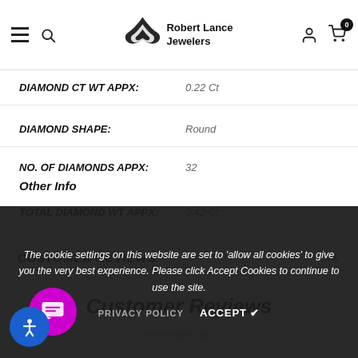Robert Lance Jewelers
DIAMOND CT WT APPX: 0.22 Ct
DIAMOND SHAPE: Round
NO. OF DIAMONDS APPX: 32
Other Info
TOTAL DIAMOND WT APPX: 0.42 Ct
CUSTOMER REVIEWS
Customer Reviews
No reviews yet
The cookie settings on this website are set to 'allow all cookies' to give you the very best experience. Please click Accept Cookies to continue to use the site.
PRIVACY POLICY   ACCEPT ✓